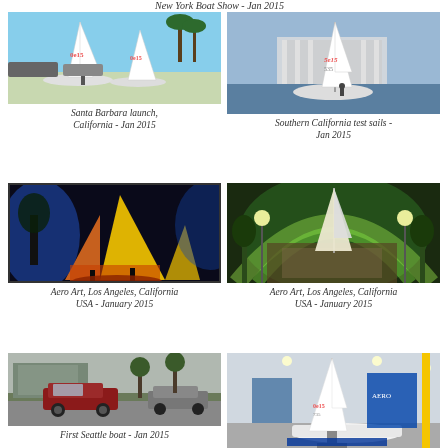New York Boat Show - Jan 2015
[Figure (photo): Sailing boats on the water at Santa Barbara launch, California - Jan 2015]
Santa Barbara launch, California - Jan 2015
[Figure (photo): Sailing boat on water at Southern California test sails - Jan 2015]
Southern California test sails - Jan 2015
[Figure (photo): Aero Art illuminated sail boat display, Los Angeles, California USA - January 2015 (left)]
Aero Art, Los Angeles, California USA - January 2015
[Figure (photo): Aero Art illuminated sail boat display, Los Angeles, California USA - January 2015 (right)]
Aero Art, Los Angeles, California USA - January 2015
[Figure (photo): Car and trailer in parking area - First Seattle boat - Jan 2015]
First Seattle boat - Jan 2015
[Figure (photo): Sail boat on display at New York Boat Show - Jan 2015]